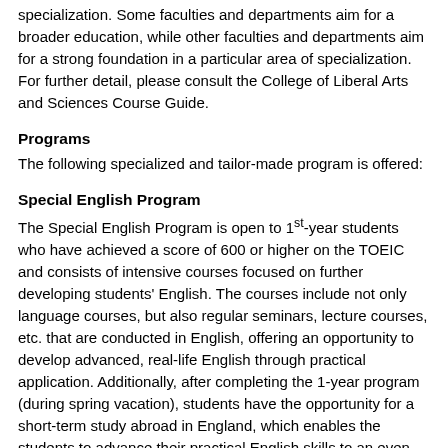specialization. Some faculties and departments aim for a broader education, while other faculties and departments aim for a strong foundation in a particular area of specialization. For further detail, please consult the College of Liberal Arts and Sciences Course Guide.
Programs
The following specialized and tailor-made program is offered:
Special English Program
The Special English Program is open to 1st-year students who have achieved a score of 600 or higher on the TOEIC and consists of intensive courses focused on further developing students' English. The courses include not only language courses, but also regular seminars, lecture courses, etc. that are conducted in English, offering an opportunity to develop advanced, real-life English through practical application. Additionally, after completing the 1-year program (during spring vacation), students have the opportunity for a short-term study abroad in England, which enables the students to advance their practical English skills to an even higher level.